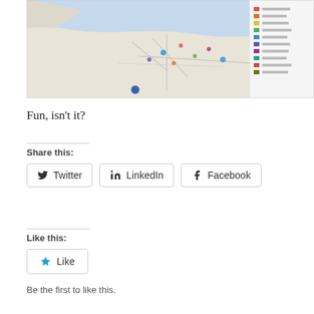[Figure (map): A map screenshot showing northern France and the English Channel region with colored legend markers and a sidebar panel on the right.]
Fun, isn't it?
Share this:
Twitter
LinkedIn
Facebook
Like this:
Like
Be the first to like this.